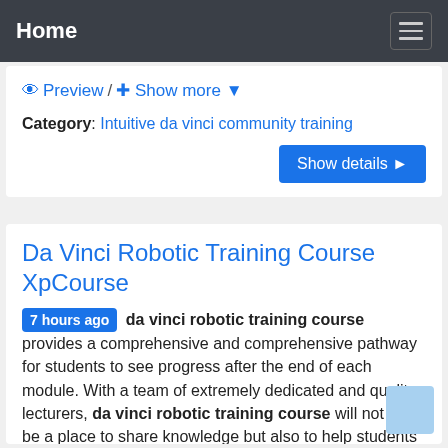Home
Preview / + Show more
Category: Intuitive da vinci community training
Show details ▶
Da Vinci Robotic Training Course XpCourse
7 hours ago da vinci robotic training course provides a comprehensive and comprehensive pathway for students to see progress after the end of each module. With a team of extremely dedicated and quality lecturers, da vinci robotic training course will not only be a place to share knowledge but also to help students get inspired to explore and discover many creative ideas from …